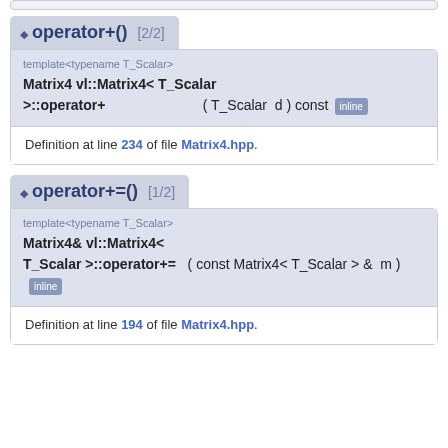operator+() [2/2]
template<typename T_Scalar>
Matrix4 vl::Matrix4< T_Scalar >::operator+ ( T_Scalar d ) const inline
Definition at line 234 of file Matrix4.hpp.
operator+=() [1/2]
template<typename T_Scalar>
Matrix4& vl::Matrix4< T_Scalar >::operator+= ( const Matrix4< T_Scalar > & m ) inline
Definition at line 194 of file Matrix4.hpp.